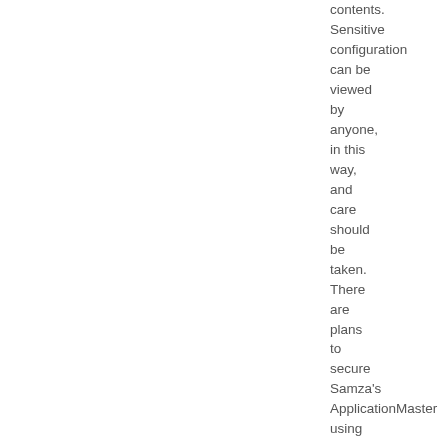contents. Sensitive configuration can be viewed by anyone, in this way, and care should be taken. There are plans to secure Samza's ApplicationMaster using